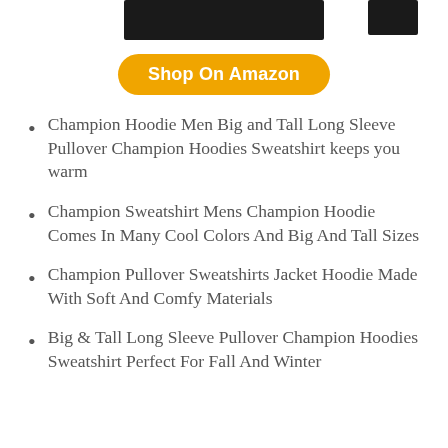[Figure (photo): Partial view of dark/black hoodie product images at the top of the page]
Shop On Amazon
Champion Hoodie Men Big and Tall Long Sleeve Pullover Champion Hoodies Sweatshirt keeps you warm
Champion Sweatshirt Mens Champion Hoodie Comes In Many Cool Colors And Big And Tall Sizes
Champion Pullover Sweatshirts Jacket Hoodie Made With Soft And Comfy Materials
Big & Tall Long Sleeve Pullover Champion Hoodies Sweatshirt Perfect For Fall And Winter